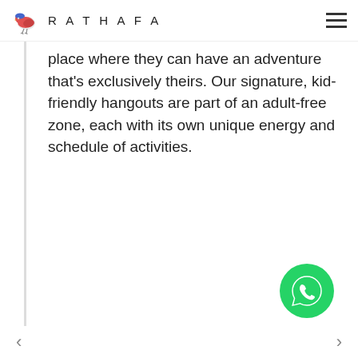RATHAFA
place where they can have an adventure that's exclusively theirs. Our signature, kid-friendly hangouts are part of an adult-free zone, each with its own unique energy and schedule of activities.
[Figure (logo): WhatsApp floating action button - green circle with white WhatsApp phone icon]
< >